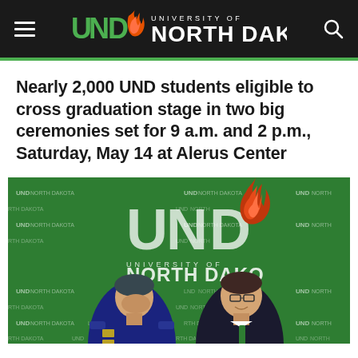UND University of North Dakota
Nearly 2,000 UND students eligible to cross graduation stage in two big ceremonies set for 9 a.m. and 2 p.m., Saturday, May 14 at Alerus Center
[Figure (photo): Two men sitting in front of a green UND North Dakota branded backdrop. On the left is a man in a military uniform (blue Air Force-style), and on the right is a man in a dark suit with a green tie. Both appear to be at an official signing or press event.]